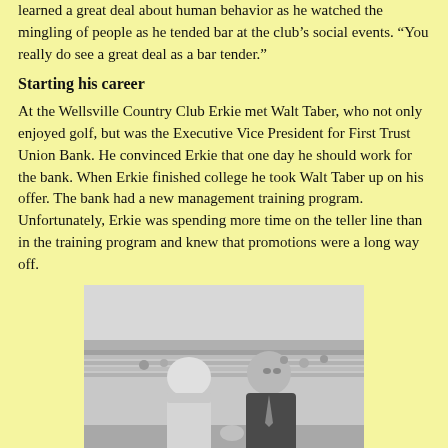learned a great deal about human behavior as he watched the mingling of people as he tended bar at the club’s social events. “You really do see a great deal as a bar tender.”
Starting his career
At the Wellsville Country Club Erkie met Walt Taber, who not only enjoyed golf, but was the Executive Vice President for First Trust Union Bank. He convinced Erkie that one day he should work for the bank. When Erkie finished college he took Walt Taber up on his offer. The bank had a new management training program. Unfortunately, Erkie was spending more time on the teller line than in the training program and knew that promotions were a long way off.
[Figure (photo): Black and white photo of two men shaking hands in front of a stadium grandstand. One man faces away and wears a light-colored jacket; the other man in a dark suit faces the camera.]